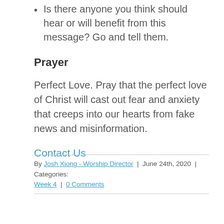Is there anyone you think should hear or will benefit from this message? Go and tell them.
Prayer
Perfect Love. Pray that the perfect love of Christ will cast out fear and anxiety that creeps into our hearts from fake news and misinformation.
Contact Us
By Josh Xiong - Worship Director | June 24th, 2020 | Categories: Week 4 | 0 Comments